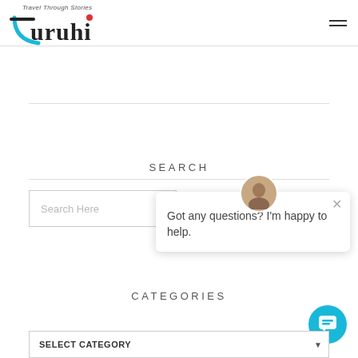Travel Through Stories — Turuhi (logo with hamburger menu)
SEARCH
Search Here (input placeholder)
Got any questions? I'm happy to help.
CATEGORIES
SELECT CATEGORY